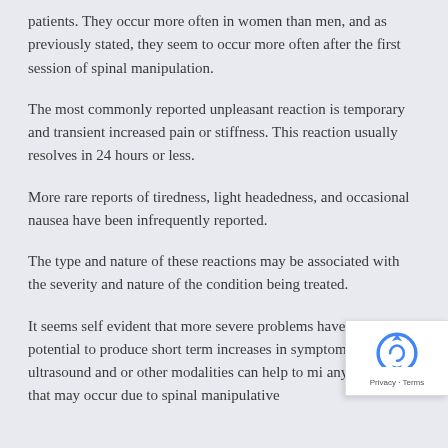patients. They occur more often in women than men, and as previously stated, they seem to occur more often after the first session of spinal manipulation.
The most commonly reported unpleasant reaction is temporary and transient increased pain or stiffness. This reaction usually resolves in 24 hours or less.
More rare reports of tiredness, light headedness, and occasional nausea have been infrequently reported.
The type and nature of these reactions may be associated with the severity and nature of the condition being treated.
It seems self evident that more severe problems have the potential to produce short term increases in symptoms. of ice, ultrasound and or other modalities can help to mi any irritation that may occur due to spinal manipulative